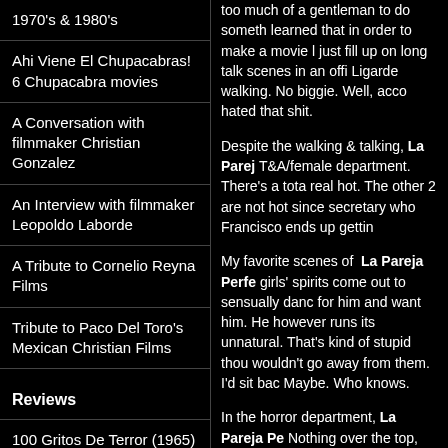1970's & 1980's
Ahi Viene El Chupacabras! 6 Chupacabra movies
A Conversation with filmmaker Christian Gonzalez
An Interview with filmmaker Leopoldo Laborde
A Tribute to Cornelio Reyna Films
Tribute to Paco Del Toro's Mexican Christian Films
Reviews
100 Gritos De Terror (1965)
too much of a gentleman to do something learned that in order to make a movie l just fill up on long talk scenes in an offi Ligarde walking. No biggie. Well, acco hated that shit.
Despite the walking & talking, La Parej T&A/female department. There's a tota real hot. The other 2 are not hot since secretary who Francisco ends up gettin
My favorite scenes of La Pareja Perfe girls' spirits come out to sensually dan for him and want him. He however runs its unnatural. That's kind of stupid tho wouldn't go away from them. I'd sit ba Maybe. Who knows.
In the horror department, La Pareja Pe Nothing over the top, but there's shots woman. Now that's pretty scary shit ri men in movies & tv all the time; really his belt and calling them whores. I sw seriously can pull off playing a really b believable. Those eyes of his say pure